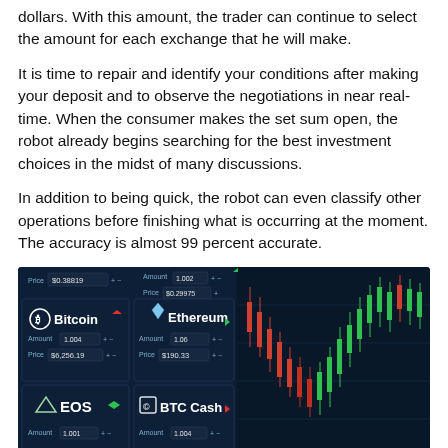dollars. With this amount, the trader can continue to select the amount for each exchange that he will make.
It is time to repair and identify your conditions after making your deposit and to observe the negotiations in near real-time. When the consumer makes the set sum open, the robot already begins searching for the best investment choices in the midst of many discussions.
In addition to being quick, the robot can even classify other operations before finishing what is occurring at the moment. The accuracy is almost 99 percent accurate.
[Figure (screenshot): Screenshot of a cryptocurrency trading platform interface showing Bitcoin (price $6,256.19, amount 1.004), Ethereum (price $190.33, amount 1.06), EOS (amount 1.001), and BTC Cash (amount 1.004) trading cards on a dark blue background with a candlestick chart on the right side showing red and green candles.]